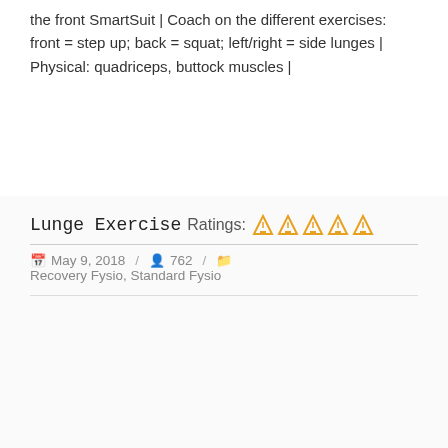the front SmartSuit | Coach on the different exercises: front = step up; back = squat; left/right = side lunges | Physical: quadriceps, buttock muscles |
Lunge Exercise
Ratings: ▲▲▲▲▲
May 9, 2018 / 762 / Recovery Fysio, Standard Fysio
[Figure (illustration): Two anatomical body figures (front and back views) showing muscle groups, with highlighted muscles in red on the back figure's lower body area (buttocks/glutes region).]